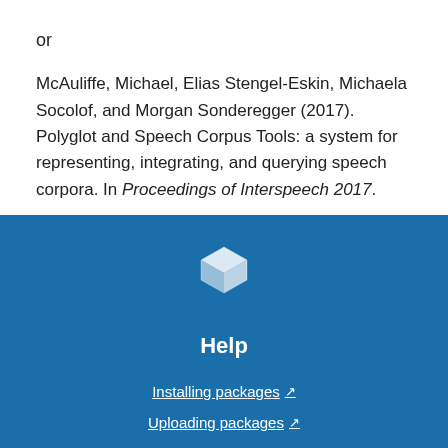or
McAuliffe, Michael, Elias Stengel-Eskin, Michaela Socolof, and Morgan Sonderegger (2017). Polyglot and Speech Corpus Tools: a system for representing, integrating, and querying speech corpora. In Proceedings of Interspeech 2017.
[Figure (logo): White 3D cube icon on blue background]
Help
Installing packages ↗
Uploading packages ↗
User guide ↗
FAQs